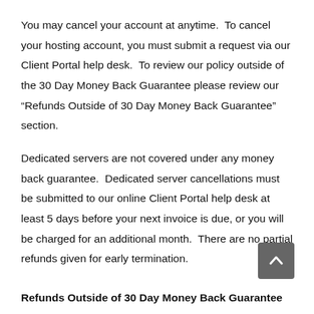You may cancel your account at anytime.  To cancel your hosting account, you must submit a request via our Client Portal help desk.  To review our policy outside of the 30 Day Money Back Guarantee please review our “Refunds Outside of 30 Day Money Back Guarantee” section.
Dedicated servers are not covered under any money back guarantee.  Dedicated server cancellations must be submitted to our online Client Portal help desk at least 5 days before your next invoice is due, or you will be charged for an additional month.  There are no partial refunds given for early termination.
Refunds Outside of 30 Day Money Back Guarantee